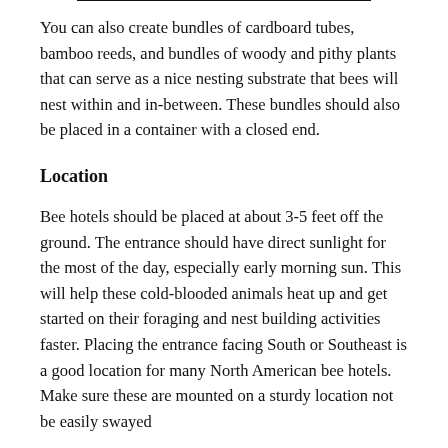You can also create bundles of cardboard tubes, bamboo reeds, and bundles of woody and pithy plants that can serve as a nice nesting substrate that bees will nest within and in-between. These bundles should also be placed in a container with a closed end.
Location
Bee hotels should be placed at about 3-5 feet off the ground. The entrance should have direct sunlight for the most of the day, especially early morning sun. This will help these cold-blooded animals heat up and get started on their foraging and nest building activities faster. Placing the entrance facing South or Southeast is a good location for many North American bee hotels. Make sure these are mounted on a sturdy location not be easily swayed